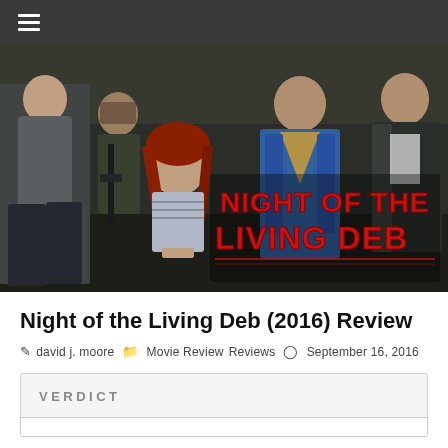☰
[Figure (photo): Movie still from 'Night of the Living Deb' showing five people in a dimly lit room. A red-haired woman sits in the foreground with hands bound. Behind her stand four men, one armed. A red and white movie title logo reading 'NIGHT OF THE LIVING DEB' is overlaid on the right side of the image.]
Night of the Living Deb (2016) Review
david j. moore   Movie Review   Reviews   September 16, 2016
VERDICT